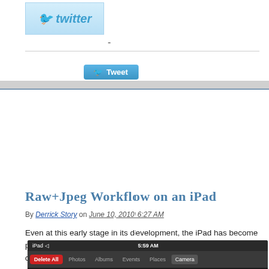[Figure (logo): Twitter logo button with blue bird and italic twitter text]
-
Permalink
[Figure (other): Blue Tweet button with bird icon]
Raw+Jpeg Workflow on an iPad
By Derrick Story on June 10, 2010 6:27 AM
Even at this early stage in its development, the iPad has become part of my photography workflow. As I described in The Nimble P... can travel light (less than 6 pounds), but still be able to capture a quality photographs. The key for me is using the Raw+Jpeg work...
In my latest Macworld Magazine article, A photographer's workflo... explain step-by-step how I work with the basic tools on the iPad t...
[Figure (screenshot): iPad screenshot showing Photos app with Delete All button, tabs: Photos, Albums, Events, Places, Camera, and time 5:59 AM]